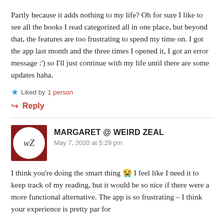Partly because it adds nothing to my life? Oh for sure I like to see all the books I read categorized all in one place, but beyond that, the features are too frustrating to spend my time on. I got the app last month and the three times I opened it, I got an error message :') so I'll just continue with my life until there are some updates haha.
★ Liked by 1 person
↳ Reply
MARGARET @ WEIRD ZEAL — May 7, 2020 at 5:29 pm
I think you're doing the smart thing 😭 I feel like I need it to keep track of my reading, but it would be so nice if there were a more functional alternative. The app is so frustrating – I think your experience is pretty par for